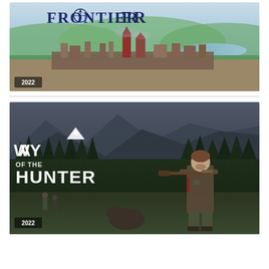[Figure (illustration): Game banner for a frontier/strategy game showing a fantasy landscape with green rolling hills, a medieval city with spires, a river in the background, and the game title 'FRONTIER' with a compass rose logo at the top. Year badge '2022' in lower left corner.]
[Figure (illustration): Game banner for 'Way of the Hunter' showing a hunting game with dark mountain landscape background, pine forest, a hunter carrying a rifle in camouflage gear in the foreground right, other hunters in background, and the game logo 'WAY OF THE HUNTER' in white text on left. Year badge '2022' in lower left corner.]